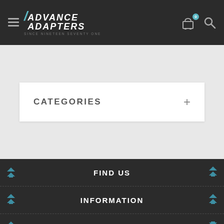Advance Adapters — Since Nineteen Seventy One
CATEGORIES
FIND US
INFORMATION
MY ACCOUNT
NEWSLETTER